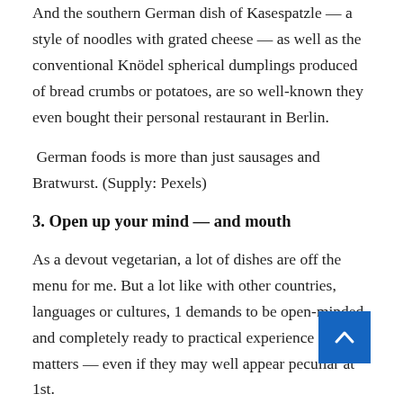And the southern German dish of Kasespatzle — a style of noodles with grated cheese — as well as the conventional Knödel spherical dumplings produced of bread crumbs or potatoes, are so well-known they even bought their personal restaurant in Berlin.
German foods is more than just sausages and Bratwurst. (Supply: Pexels)
3. Open up your mind — and mouth
As a devout vegetarian, a lot of dishes are off the menu for me. But a lot like with other countries, languages or cultures, 1 demands to be open-minded and completely ready to practical experience new matters — even if they may well appear peculiar at 1st.
I, for a single, assumed that practically nothing excellent can perhaps come out of an insipid vegetable like